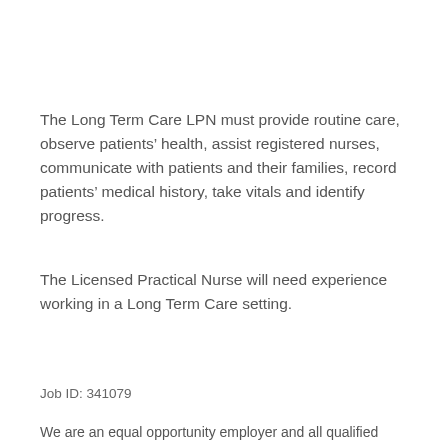The Long Term Care LPN must provide routine care, observe patients' health, assist registered nurses, communicate with patients and their families, record patients' medical history, take vitals and identify progress.
The Licensed Practical Nurse will need experience working in a Long Term Care setting.
Job ID: 341079
We are an equal opportunity employer and all qualified applicants will receive consideration for employment without